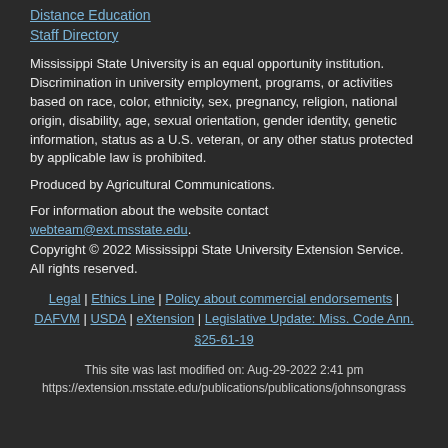Distance Education
Staff Directory
Mississippi State University is an equal opportunity institution. Discrimination in university employment, programs, or activities based on race, color, ethnicity, sex, pregnancy, religion, national origin, disability, age, sexual orientation, gender identity, genetic information, status as a U.S. veteran, or any other status protected by applicable law is prohibited.
Produced by Agricultural Communications.
For information about the website contact webteam@ext.msstate.edu.
Copyright © 2022 Mississippi State University Extension Service. All rights reserved.
Legal | Ethics Line | Policy about commercial endorsements | DAFVM | USDA | eXtension | Legislative Update: Miss. Code Ann. §25-61-19
This site was last modified on: Aug-29-2022 2:41 pm
https://extension.msstate.edu/publications/publications/johnsongrass